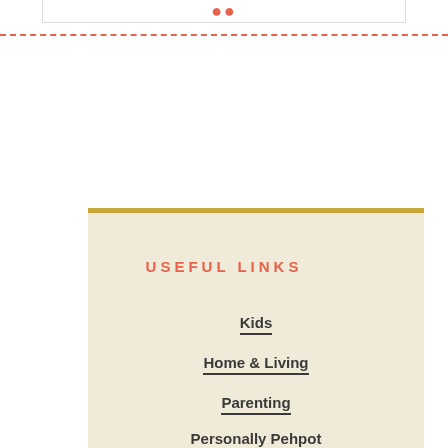USEFUL LINKS
Kids
Home & Living
Parenting
Personally Pehpot